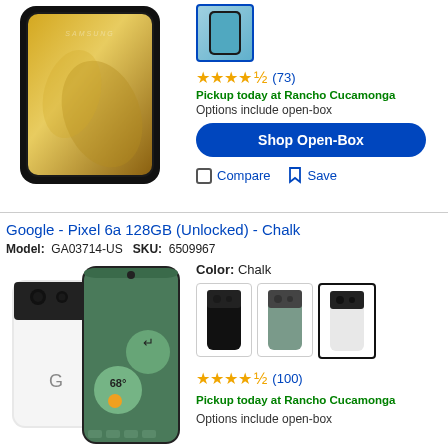[Figure (photo): Samsung phone product image, back and front view, black with golden swirl screen]
[Figure (photo): Small thumbnail of a phone in blue/teal color]
★★★★½ (73)
Pickup today at Rancho Cucamonga
Options include open-box
Shop Open-Box
Compare
Save
Google - Pixel 6a 128GB (Unlocked) - Chalk
Model: GA03714-US  SKU: 6509967
[Figure (photo): Google Pixel 6a phone product image, white/chalk color, front and back view showing weather app]
Color: Chalk
[Figure (photo): Color variant thumbnails: black, sage/green, chalk/white for Google Pixel 6a]
★★★★½ (100)
Pickup today at Rancho Cucamonga
Options include open-box